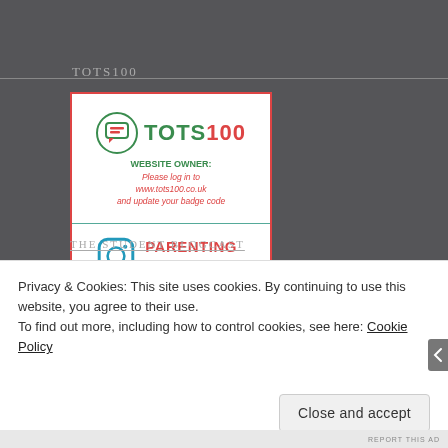TOTS100
[Figure (logo): TOTS100 badge with logo, 'WEBSITE OWNER: Please log in to www.tots100.co.uk and update your badge code' message, and Parenting Influencer section with Instagram icon]
THE STUDENT BLOGCAST
Privacy & Cookies: This site uses cookies. By continuing to use this website, you agree to their use.
To find out more, including how to control cookies, see here: Cookie Policy
Close and accept